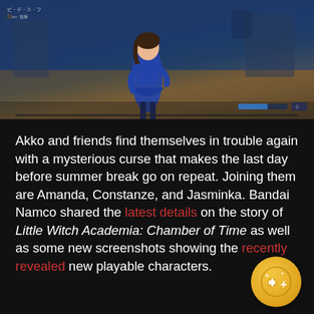[Figure (screenshot): Anime game screenshot showing a female character in blue outfit (Little Witch Academia: Chamber of Time) in a battle scene with HUD elements in top-left corner and health/status bars in bottom-right.]
Akko and friends find themselves in trouble again with a mysterious curse that makes the last day before summer break go on repeat. Joining them are Amanda, Constanze, and Jasminka. Bandai Namco shared the latest details on the story of Little Witch Academia: Chamber of Time as well as some new screenshots showing the recently revealed new playable characters.
[Figure (illustration): Gold circular icon with a game controller and plus symbol, resembling an achievement/badge icon.]
[Figure (screenshot): Hulu advertisement banner: HULU + 75+ LIVE CHANNELS + DISNEY+ + ESPN+, GET LIVE TV NOW button, Hulu + Live TV logo. Restrictions apply.]